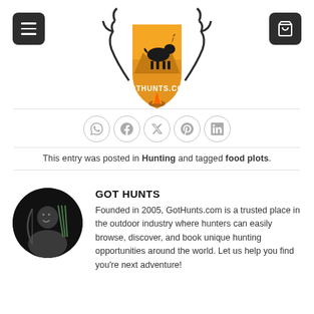[Figure (logo): GotHunts.com logo — shield with mountain goat silhouette, antlers, campfire, golden/orange color scheme]
[Figure (infographic): Row of 5 social media share icons (WhatsApp, Facebook, Twitter/X, Pinterest, LinkedIn) in circular grey outlines]
This entry was posted in Hunting and tagged food plots.
[Figure (photo): Circular profile photo of a man smiling, holding a bow, dark background with arrows visible]
GOT HUNTS
Founded in 2005, GotHunts.com is a trusted place in the outdoor industry where hunters can easily browse, discover, and book unique hunting opportunities around the world. Let us help you find you're next adventure!